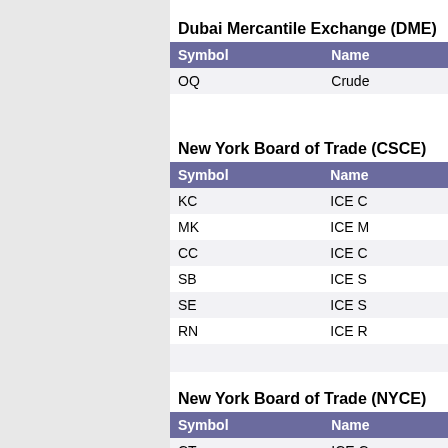Dubai Mercantile Exchange (DME)
| Symbol | Name |
| --- | --- |
| OQ | Crude |
|  |  |
New York Board of Trade (CSCE)
| Symbol | Name |
| --- | --- |
| KC | ICE C |
| MK | ICE M |
| CC | ICE C |
| SB | ICE S |
| SE | ICE S |
| RN | ICE R |
|  |  |
New York Board of Trade (NYCE)
| Symbol | Name |
| --- | --- |
| CT | ICE C |
| OJ | ICE O |
| OC | ICE C |